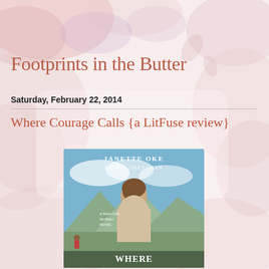[Figure (illustration): Watercolor background with pink, lavender, and peach floral/abstract shapes covering the full page]
Footprints in the Butter
Saturday, February 22, 2014
Where Courage Calls {a LitFuse review}
[Figure (photo): Book cover of 'Where Courage Calls' by Janette Oke and Laurel Oke Logan. Shows a young woman in Victorian/Edwardian dress with mountains in background. Subtitle: A When Calls the Heart Novel.]